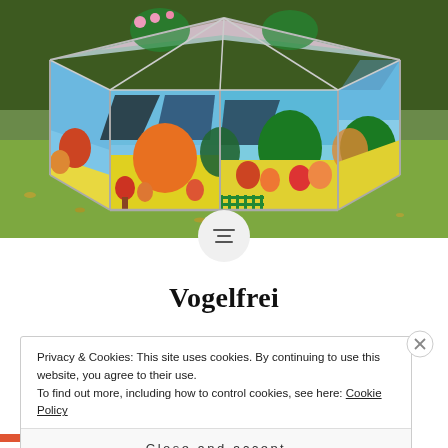[Figure (photo): A colorful art installation resembling a greenhouse structure with painted glass panels depicting stylized trees, hills, and landscape in vivid colors (orange, green, pink, yellow, blue), situated on a grass lawn in a garden setting with hedges in the background.]
Vogelfrei
Privacy & Cookies: This site uses cookies. By continuing to use this website, you agree to their use.
To find out more, including how to control cookies, see here: Cookie Policy
Close and accept